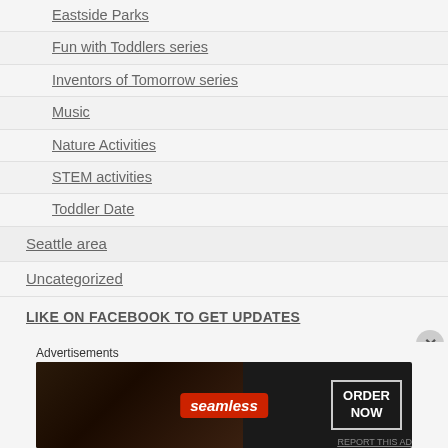Eastside Parks
Fun with Toddlers series
Inventors of Tomorrow series
Music
Nature Activities
STEM activities
Toddler Date
Seattle area
Uncategorized
LIKE ON FACEBOOK TO GET UPDATES
Advertisements
[Figure (photo): Seamless food delivery advertisement showing pizza with 'ORDER NOW' call to action]